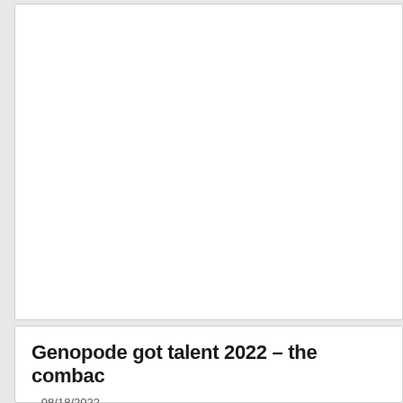[Figure (other): White card area, mostly empty/blank content area at top of page]
Genopode got talent 2022 – the comeback
– 08/18/2022
POSTED IN: OTHER EVENTS, LINKS, NEWS..., PEOPLE